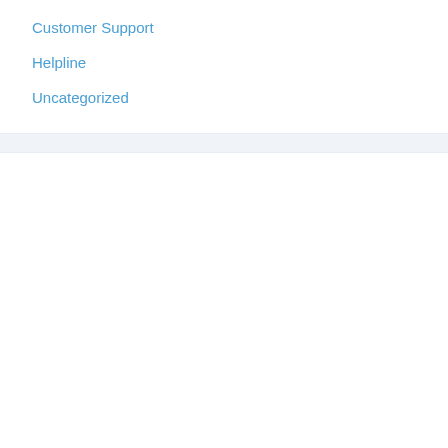Customer Support
Helpline
Uncategorized